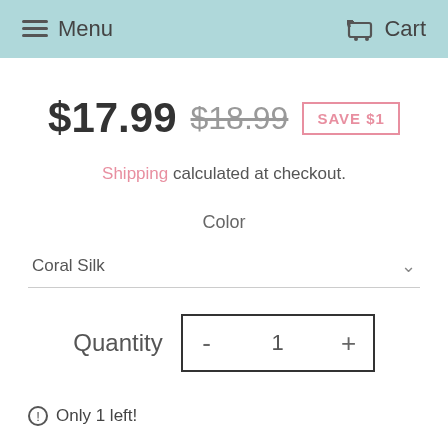Menu   Cart
$17.99  $18.99  SAVE $1
Shipping calculated at checkout.
Color
Coral Silk
Quantity  -  1  +
Only 1 left!